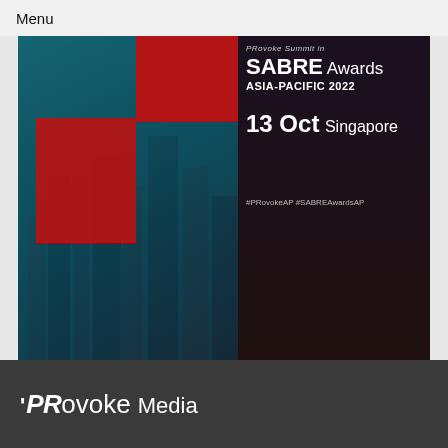Menu
[Figure (photo): Promotional banner for Asia-Pacific Summit + SABRE Awards 2022. Left half shows Singapore skyline with teal and dark overlay plus red geometric blocks. Right half on dark background shows: 'SABRE Awards ASIA-PACIFIC 2022', '13 Oct Singapore'. Bottom overlay in red bar shows italic text 'Asia-Pacific Summit + SABRE Awards' with buttons 'REGISTER NOW' and 'PROGRAMME'. Hashtags '#PRovokeAP #SABREAwardsAP'.]
Asia-Pacific Summit + SABRE Awards
REGISTER NOW    PROGRAMME
PRovoke Media